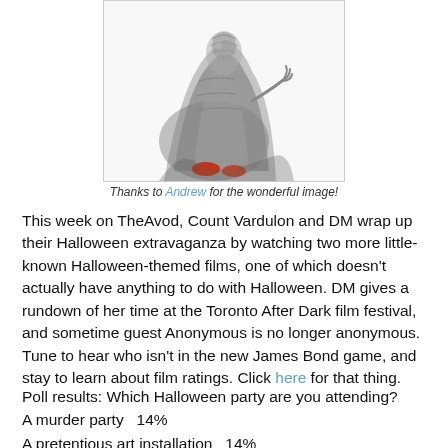[Figure (illustration): A dark illustration of a mummy-like or ghoulish character in gray robes with red shoes/feet, with a claw-like hand outstretched, on a white background]
Thanks to Andrew for the wonderful image!
This week on TheAvod, Count Vardulon and DM wrap up their Halloween extravaganza by watching two more little-known Halloween-themed films, one of which doesn't actually have anything to do with Halloween. DM gives a rundown of her time at the Toronto After Dark film festival, and sometime guest Anonymous is no longer anonymous. Tune to hear who isn't in the new James Bond game, and stay to learn about film ratings. Click here for that thing.
Poll results: Which Halloween party are you attending?
A murder party  14%
A pretentious art installation  14%